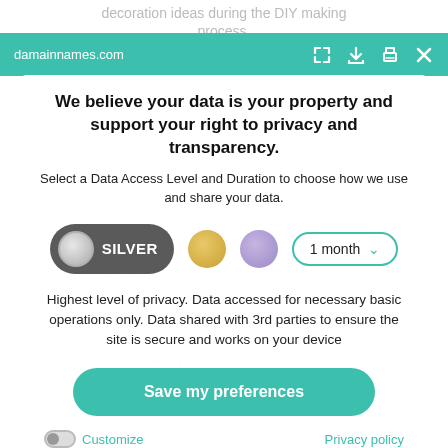damainnames.com
We believe your data is your property and support your right to privacy and transparency.
Select a Data Access Level and Duration to choose how we use and share your data.
[Figure (screenshot): Privacy controls row: Silver pill button selected, gold circle, lavender circle, and '1 month' dropdown selector with teal border]
Highest level of privacy. Data accessed for necessary basic operations only. Data shared with 3rd parties to ensure the site is secure and works on your device
Save my preferences
Customize
Privacy policy